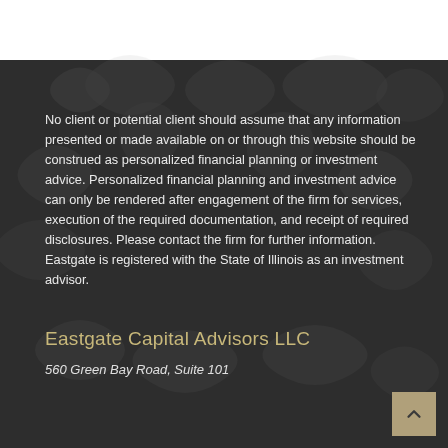No client or potential client should assume that any information presented or made available on or through this website should be construed as personalized financial planning or investment advice. Personalized financial planning and investment advice can only be rendered after engagement of the firm for services, execution of the required documentation, and receipt of required disclosures. Please contact the firm for further information. Eastgate is registered with the State of Illinois as an investment advisor.
Eastgate Capital Advisors LLC
560 Green Bay Road, Suite 101